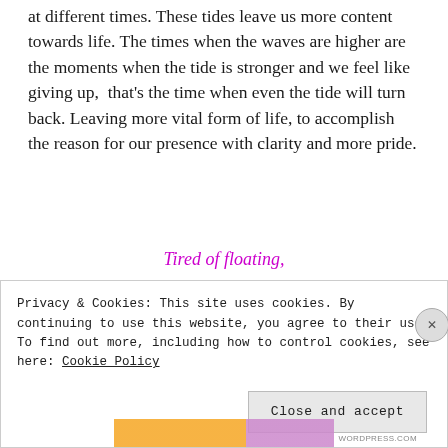at different times. These tides leave us more content towards life. The times when the waves are higher are the moments when the tide is stronger and we feel like giving up, that's the time when even the tide will turn back. Leaving more vital form of life, to accomplish the reason for our presence with clarity and more pride.
Tired of floating,
waves were higher,
Privacy & Cookies: This site uses cookies. By continuing to use this website, you agree to their use.
To find out more, including how to control cookies, see here: Cookie Policy
Close and accept